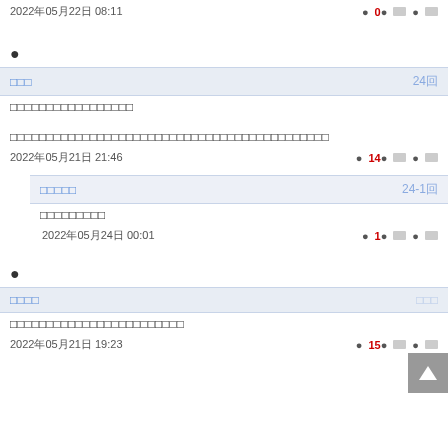2022年05月22日 08:11   • 0● □● □
•
□□□   24回
□□□□□□□□□□□□□□□□□
□□□□□□□□□□□□□□□□□□□□□□□□□□□□□□□□□□□□□□□□□□□□
2022年05月21日 21:46   • 14● □● □
□□□□□   24-1回
□□□□□□□□□
2022年05月24日 00:01   • 1● □● □
•
□□□□   □□□
□□□□□□□□□□□□□□□□□□□□□□□□
2022年05月21日 19:23   • 15● □● □